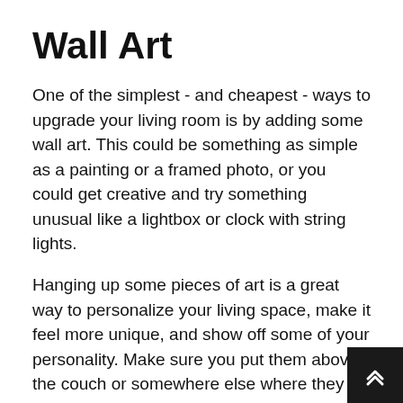Wall Art
One of the simplest - and cheapest - ways to upgrade your living room is by adding some wall art. This could be something as simple as a painting or a framed photo, or you could get creative and try something unusual like a lightbox or clock with string lights.
Hanging up some pieces of art is a great way to personalize your living space, make it feel more unique, and show off some of your personality. Make sure you put them above the couch or somewhere else where they are visible from the main seating area!
The living room is one of the most frequently visited in your home. It's also a space that you should be designing